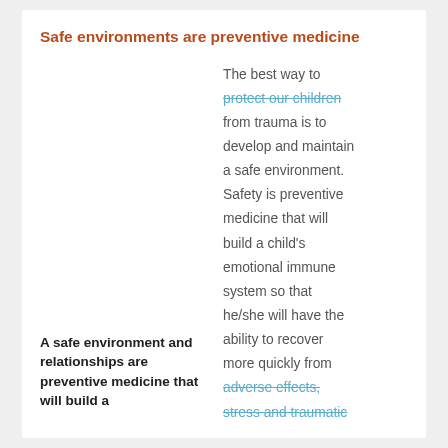Safe environments are preventive medicine
The best way to protect our children from trauma is to develop and maintain a safe environment. Safety is preventive medicine that will build a child's emotional immune system so that he/she will have the ability to recover more quickly from adverse effects, stress and traumatic
A safe environment and relationships are preventive medicine that will build a